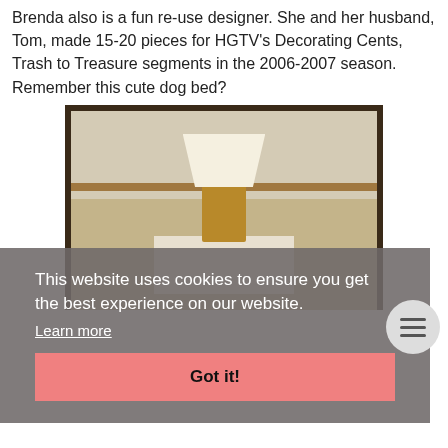Brenda also is a fun re-use designer. She and her husband, Tom, made 15-20 pieces for HGTV's Decorating Cents, Trash to Treasure segments in the 2006-2007 season. Remember this cute dog bed?
[Figure (photo): Interior room photo showing a table with a gold lamp with white shade, a gold decorative box, and a plate of dog treats. Wood wainscoting visible on wall.]
This website uses cookies to ensure you get the best experience on our website.
Learn more
Got it!